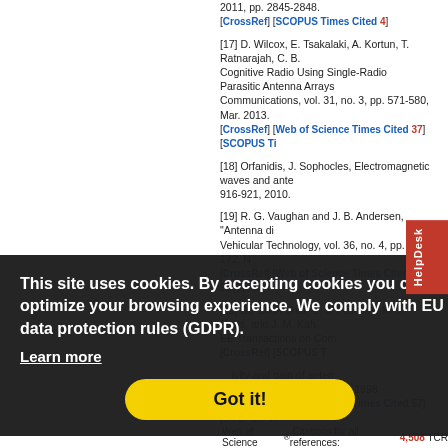2011, pp. 2845-2848.
[CrossRef] [SCOPUS Times Cited 4]
[17] D. Wilcox, E. Tsakalaki, A. Kortun, T. Ratnarajah, C. B. ... Cognitive Radio Using Single-Radio Parasitic Antenna Arrays... Communications, vol. 31, no. 3, pp. 571-580, Mar. 2013.
[CrossRef] [Web of Science Times Cited 37] [SCOPUS Ti...
[18] Orfanidis, J. Sophocles, Electromagnetic waves and ante... 916-921, 2010.
[19] R. G. Vaughan and J. B. Andersen, "Antenna di... Vehicular Technology, vol. 36, no. 4, pp. 149-172, N...
[CrossRef] [Web of Science Times Cited 916] [SC...
[20] Da-Shan Shiu, G. J. Foschini, M. J. Gans, and J. M. Kah... EE Transactions on Com...
[CrossRef] [SCOPUS T...
[21] ...activity and gain of anten... vol. 40, no. 4, pp. 7-11, Aug. 1998.
[CrossRef] [Web of Science Times Cited 57] [SCOPUS Ti...
References Weight
Web of Science® Citations for all references: 4,508 TCR
This site uses cookies. By accepting cookies you can optimize your browsing experience. We comply with EU data protection rules (GDPR). Learn more Got it!